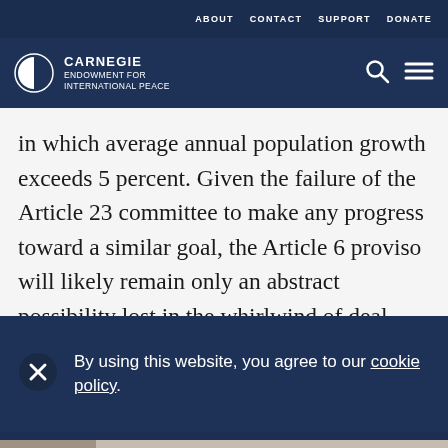ABOUT   CONTACT   SUPPORT   DONATE
[Figure (logo): Carnegie Endowment for International Peace logo with search and menu icons]
in which average annual population growth exceeds 5 percent. Given the failure of the Article 23 committee to make any progress toward a similar goal, the Article 6 proviso will likely remain only an abstract possibility lost in the whirlwind of deal-
By using this website, you agree to our cookie policy.
Print  Share  Facebook  Twitter  WhatsApp  Messenger  LinkedIn